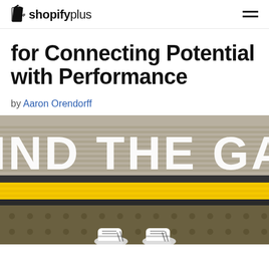shopifyplus
for Connecting Potential with Performance
by Aaron Orendorff
[Figure (photo): Close-up photo of a subway platform edge with 'MIND THE GAP' text painted in white on the yellow tactile strip, with a person's white sneakers visible at the bottom of the frame.]